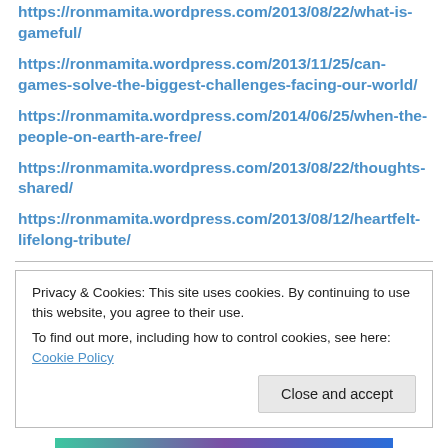https://ronmamita.wordpress.com/2013/08/22/what-is-gameful/
https://ronmamita.wordpress.com/2013/11/25/can-games-solve-the-biggest-challenges-facing-our-world/
https://ronmamita.wordpress.com/2014/06/25/when-the-people-on-earth-are-free/
https://ronmamita.wordpress.com/2013/08/22/thoughts-shared/
https://ronmamita.wordpress.com/2013/08/12/heartfelt-lifelong-tribute/
Privacy & Cookies: This site uses cookies. By continuing to use this website, you agree to their use. To find out more, including how to control cookies, see here: Cookie Policy
[Figure (other): Colorful gradient banner image at bottom of page]